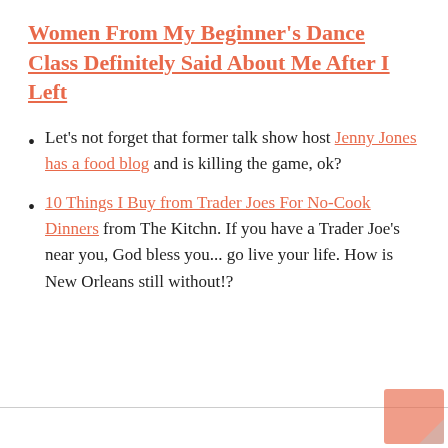Women From My Beginner's Dance Class Definitely Said About Me After I Left
Let's not forget that former talk show host Jenny Jones has a food blog and is killing the game, ok?
10 Things I Buy from Trader Joes For No-Cook Dinners from The Kitchn. If you have a Trader Joe's near you, God bless you... go live your life. How is New Orleans still without!?